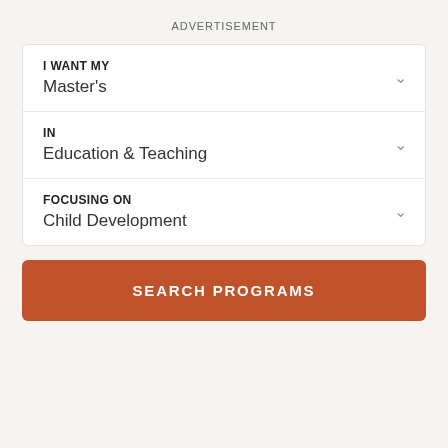ADVERTISEMENT
I WANT MY
Master's
IN
Education & Teaching
FOCUSING ON
Child Development
SEARCH PROGRAMS